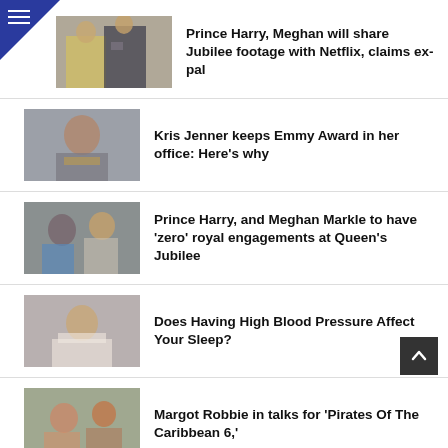Prince Harry, Meghan will share Jubilee footage with Netflix, claims ex-pal
Kris Jenner keeps Emmy Award in her office: Here's why
Prince Harry, and Meghan Markle to have 'zero' royal engagements at Queen's Jubilee
Does Having High Blood Pressure Affect Your Sleep?
Margot Robbie in talks for 'Pirates Of The Caribbean 6,'